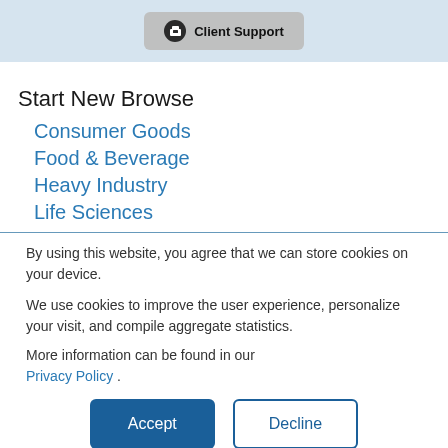[Figure (screenshot): Client Support button with icon on light blue background banner]
Start New Browse
Consumer Goods
Food & Beverage
Heavy Industry
Life Sciences
By using this website, you agree that we can store cookies on your device.
We use cookies to improve the user experience, personalize your visit, and compile aggregate statistics.
More information can be found in our Privacy Policy .